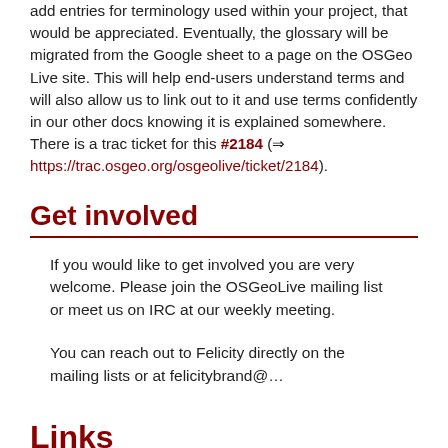add entries for terminology used within your project, that would be appreciated. Eventually, the glossary will be migrated from the Google sheet to a page on the OSGeo Live site. This will help end-users understand terms and will also allow us to link out to it and use terms confidently in our other docs knowing it is explained somewhere. There is a trac ticket for this #2184 (⇒ https://trac.osgeo.org/osgeolive/ticket/2184).
Get involved
If you would like to get involved you are very welcome. Please join the OSGeoLive mailing list or meet us on IRC at our weekly meeting.
You can reach out to Felicity directly on the mailing lists or at felicitybrand@...
Links
1. https://docs.osgeo.org/osgeolive/...